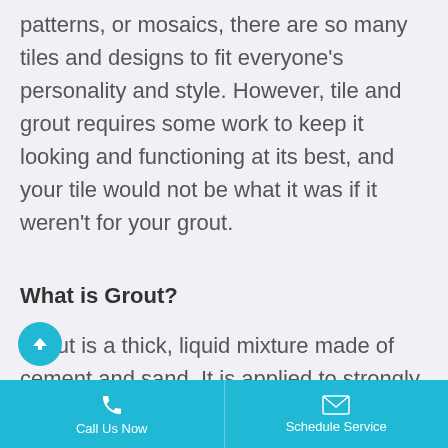patterns, or mosaics, there are so many tiles and designs to fit everyone's personality and style. However, tile and grout requires some work to keep it looking and functioning at its best, and your tile would not be what it was if it weren't for your grout.
What is Grout?
Grout is a thick, liquid mixture made of cement and sand. It is applied to strongly attach tiles onto surfaces like walls or floors. Once it dries,
Call Us Now    Schedule Service